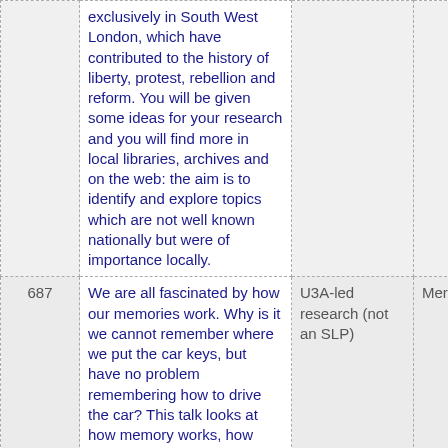| ID | Description | Type | Organisation |
| --- | --- | --- | --- |
|  | exclusively in South West London, which have contributed to the history of liberty, protest, rebellion and reform. You will be given some ideas for your research and you will find more in local libraries, archives and on the web: the aim is to identify and explore topics which are not well known nationally but were of importance locally. |  |  |
| 687 | We are all fascinated by how our memories work. Why is it we cannot remember where we put the car keys, but have no problem remembering how to drive the car? This talk looks at how memory works, how | U3A-led research (not an SLP) | Merton U |